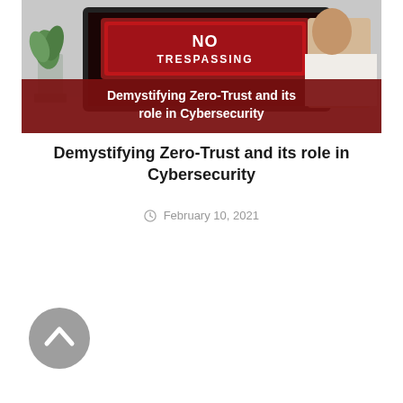[Figure (photo): Photo of a computer monitor displaying a 'No Trespassing' sign in red/dark colors, with a person visible on the right side. A dark red banner overlays the bottom of the image with white bold text reading 'Demystifying Zero-Trust and its role in Cybersecurity'. A small potted plant is visible on the left.]
Demystifying Zero-Trust and its role in Cybersecurity
February 10, 2021
[Figure (other): Gray circular scroll-to-top button with an upward-pointing chevron/caret arrow icon in white]